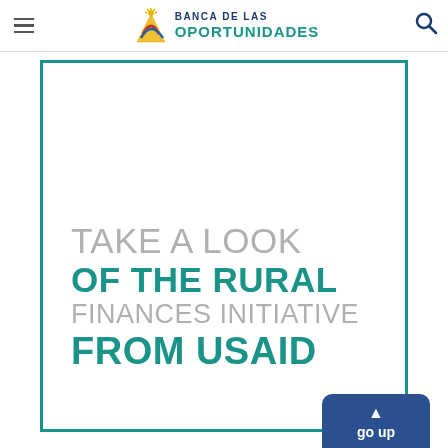BANCA DE LAS OPORTUNIDADES
[Figure (illustration): Large teal-bordered white card/panel containing bold typographic title text: 'TAKE A LOOK OF THE RURAL FINANCES INITIATIVE FROM USAID' in gray and teal colors]
TAKE A LOOK OF THE RURAL FINANCES INITIATIVE FROM USAID